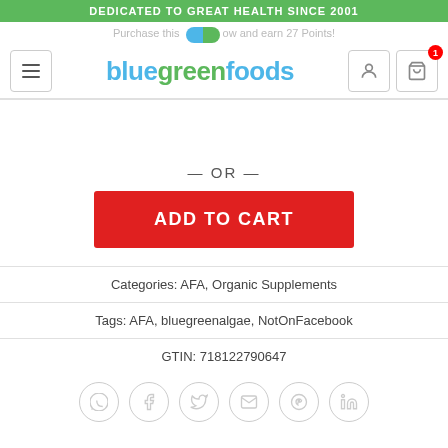DEDICATED TO GREAT HEALTH SINCE 2001
Purchase this now and earn 27 Points!
[Figure (logo): bluegreenfoods logo with blue and green text]
— OR —
ADD TO CART
Categories: AFA, Organic Supplements
Tags: AFA, bluegreenalgae, NotOnFacebook
GTIN: 718122790647
[Figure (infographic): Social sharing icons: WhatsApp, Facebook, Twitter, Email, Pinterest, LinkedIn]